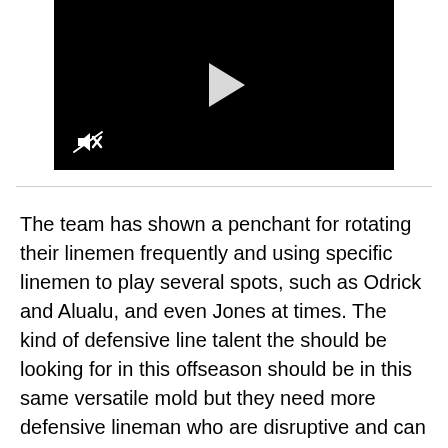[Figure (screenshot): Video player with black background, white play button in center, mute icon in bottom-left corner]
The team has shown a penchant for rotating their linemen frequently and using specific linemen to play several spots, such as Odrick and Alualu, and even Jones at times. The kind of defensive line talent the should be looking for in this offseason should be in this same versatile mold but they need more defensive lineman who are disruptive and can take over games and make plays, whether that be vs the run or the